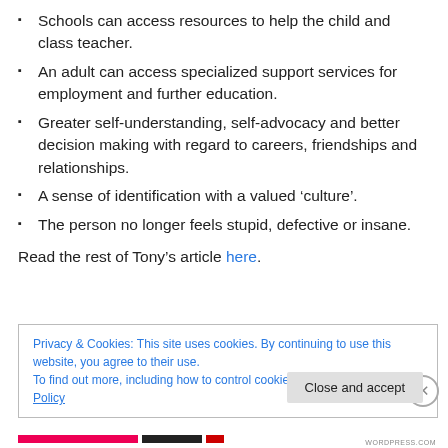Schools can access resources to help the child and class teacher.
An adult can access specialized support services for employment and further education.
Greater self-understanding, self-advocacy and better decision making with regard to careers, friendships and relationships.
A sense of identification with a valued ‘culture’.
The person no longer feels stupid, defective or insane.
Read the rest of Tony’s article here.
Privacy & Cookies: This site uses cookies. By continuing to use this website, you agree to their use. To find out more, including how to control cookies, see here: Cookie Policy